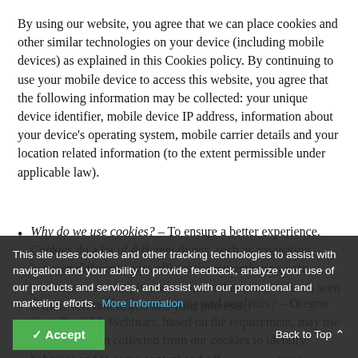By using our website, you agree that we can place cookies and other similar technologies on your device (including mobile devices) as explained in this Cookies policy. By continuing to use your mobile device to access this website, you agree that the following information may be collected: your unique device identifier, mobile device IP address, information about your device's operating system, mobile carrier details and your location related information (to the extent permissible under applicable law).
Why do we use cookies? – To ensure a better experience. Cookies do a lot of different things, such as navigating between different pages efficiently, remembering user preferences and helping us to ensure that content that is seen is more relevant to you and your interests.
Do we use cookies for marketing and analytics? – Oregon State Bar CLE Webinars, based on the requirement, may use the information collected from our cookies to identify behavior and to serve content and off ... your profile, and for the other related purposes. Some of
This site uses cookies and other tracking technologies to assist with navigation and your ability to provide feedback, analyze your use of our products and services, and assist with our promotional and marketing efforts. More Information
Back to Top